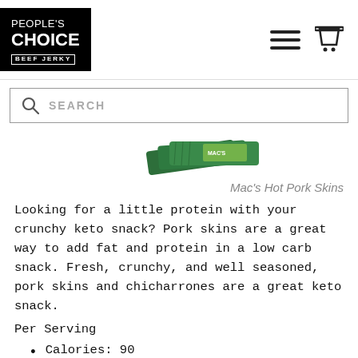PEOPLE'S CHOICE BEEF JERKY
[Figure (screenshot): Search bar with magnifying glass icon and SEARCH placeholder text]
[Figure (photo): Mac's Hot Pork Skins product packaging – green packets]
Mac's Hot Pork Skins
Looking for a little protein with your crunchy keto snack? Pork skins are a great way to add fat and protein in a low carb snack. Fresh, crunchy, and well seasoned, pork skins and chicharrones are a great keto snack.
Per Serving
Calories: 90